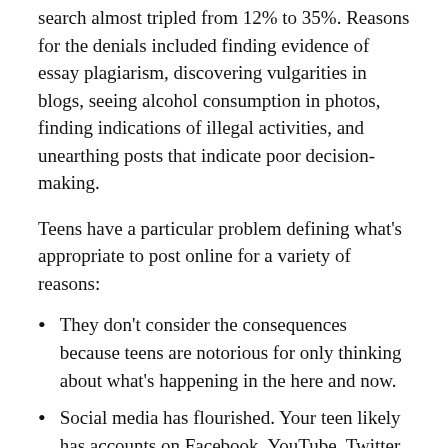search almost tripled from 12% to 35%. Reasons for the denials included finding evidence of essay plagiarism, discovering vulgarities in blogs, seeing alcohol consumption in photos, finding indications of illegal activities, and unearthing posts that indicate poor decision-making.
Teens have a particular problem defining what’s appropriate to post online for a variety of reasons:
They don’t consider the consequences because teens are notorious for only thinking about what’s happening in the here and now.
Social media has flourished. Your teen likely has accounts on Facebook, YouTube, Twitter, Pinterest, Instagram, Snapchat, Tumblr, and other platforms, and he or she may even have a blog. Google searches all of these and stores info